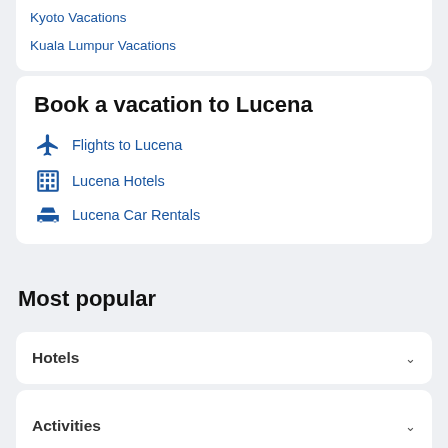Kyoto Vacations
Kuala Lumpur Vacations
Book a vacation to Lucena
Flights to Lucena
Lucena Hotels
Lucena Car Rentals
Most popular
Hotels
Cars
Activities